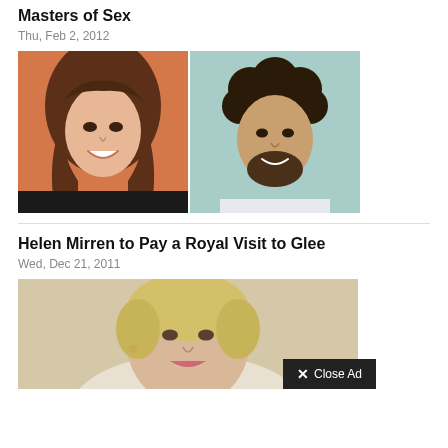Masters of Sex
Thu, Feb 2, 2012
[Figure (photo): Two side-by-side photos: a woman with long brown hair smiling against an orange background, and a man with curly dark hair and beard smiling]
Helen Mirren to Pay a Royal Visit to Glee
Wed, Dec 21, 2011
[Figure (photo): Photo of Helen Mirren, a mature woman with short blonde hair, smiling]
Close Ad